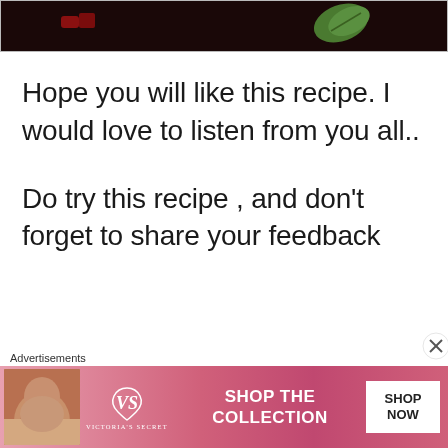[Figure (photo): Top portion of a food photo showing dark background with a green leaf, partially visible at the top of the page]
Hope you will like this recipe. I would love to listen from you all..
Do try this recipe , and don't forget to share your feedback
Advertisements
[Figure (other): Victoria's Secret advertisement banner with a model, VS logo, 'SHOP THE COLLECTION' text, and 'SHOP NOW' button on a pink background]